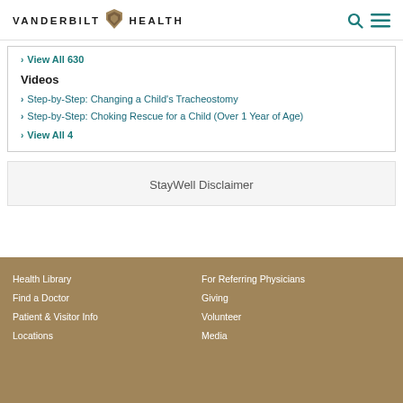VANDERBILT HEALTH
View All 630
Videos
Step-by-Step: Changing a Child's Tracheostomy
Step-by-Step: Choking Rescue for a Child (Over 1 Year of Age)
View All 4
StayWell Disclaimer
Health Library | Find a Doctor | Patient & Visitor Info | Locations | For Referring Physicians | Giving | Volunteer | Media